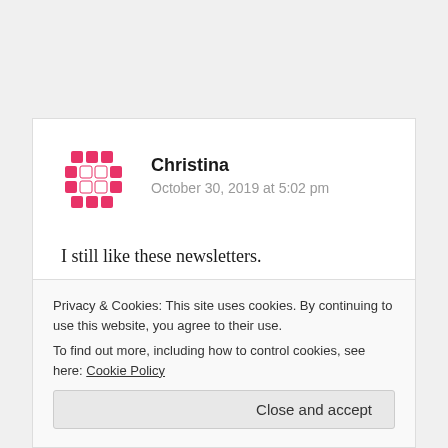[Figure (illustration): Pink/red grid-pattern avatar icon for user Christina]
Christina
October 30, 2019 at 5:02 pm
I still like these newsletters.
On my lg Phoenix plus andriod phone os Oreo is
because of the…. GPU adreno 308. And I have no
Privacy & Cookies: This site uses cookies. By continuing to use this website, you agree to their use.
To find out more, including how to control cookies, see here: Cookie Policy
Close and accept
bug cheecked hter. I still have the bug. So its Im not